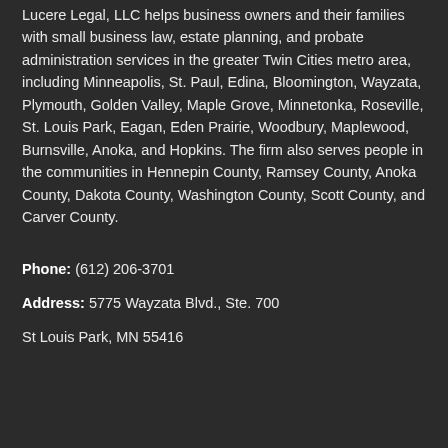Lucere Legal, LLC helps business owners and their families with small business law, estate planning, and probate administration services in the greater Twin Cities metro area, including Minneapolis, St. Paul, Edina, Bloomington, Wayzata, Plymouth, Golden Valley, Maple Grove, Minnetonka, Roseville, St. Louis Park, Eagan, Eden Prairie, Woodbury, Maplewood, Burnsville, Anoka, and Hopkins. The firm also serves people in the communities in Hennepin County, Ramsey County, Anoka County, Dakota County, Washington County, Scott County, and Carver County.
Phone: (612) 206-3701
Address: 5775 Wayzata Blvd., Ste. 700
St Louis Park, MN 55416